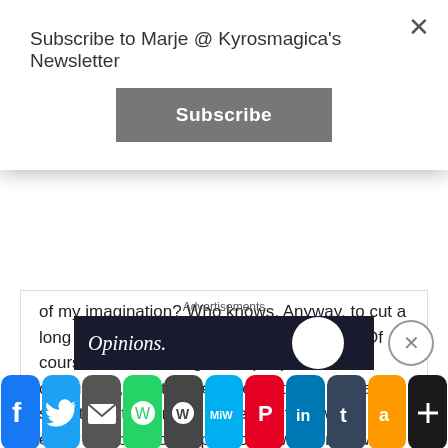Subscribe to Marje @ Kyrosmagica's Newsletter
Subscribe
of my imagination?  Who knows. Anyway, to cut a long story short I had to find an alternative. Of course there were big fat chips, potato croquettes, and two healthier options: new and sweet potatoes in the fridge. In other words every combination of potato known to man was present and correct apart from the much desired skinny fries! I suppose I could have made some triple fried chips... what on earth, maybe not. So as a consolation, I chopped up the sweet potatoes and added some herbs
Advertisements
[Figure (screenshot): Opinions blog advertisement banner with circular logo]
[Figure (infographic): Social media share bar with icons: Facebook, Twitter, Email, WhatsApp, WordPress, MeWe, Pinterest, LinkedIn, Tumblr, Amazon, Share+]